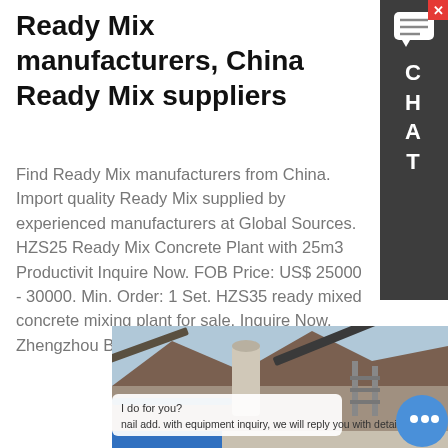Ready Mix manufacturers, China Ready Mix suppliers
Find Ready Mix manufacturers from China. Import quality Ready Mix supplied by experienced manufacturers at Global Sources. HZS25 Ready Mix Concrete Plant with 25m3 Productivit Inquire Now. FOB Price: US$ 25000 - 30000. Min. Order: 1 Set. HZS35 ready mixed concrete mixing plant for sale. Inquire Now. Zhengzhou Bona Enterprise Co. Ltd
LEARN MORE
[Figure (photo): Ready mix concrete plant with conveyor belts and silos, industrial facility with stockpiles of aggregate in the background.]
I do for you?
nail add. with equipment inquiry, we will reply you with detail.